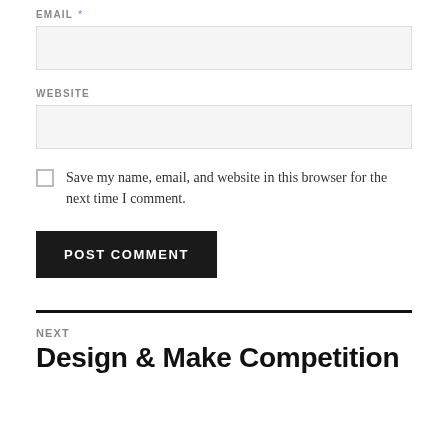EMAIL *
[Figure (other): Empty email input text box with light grey background]
WEBSITE
[Figure (other): Empty website input text box with light grey background]
Save my name, email, and website in this browser for the next time I comment.
POST COMMENT
NEXT
Design & Make Competition